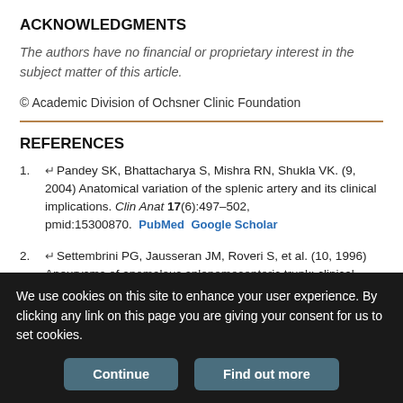ACKNOWLEDGMENTS
The authors have no financial or proprietary interest in the subject matter of this article.
© Academic Division of Ochsner Clinic Foundation
REFERENCES
1. ↵Pandey SK, Bhattacharya S, Mishra RN, Shukla VK. (9, 2004) Anatomical variation of the splenic artery and its clinical implications. Clin Anat 17(6):497–502, pmid:15300870. PubMed Google Scholar
2. ↵Settembrini PG, Jausseran JM, Roveri S, et al. (10, 1996) Aneurysms of anomalous splenomesenteric trunk: clinical features and surgical
We use cookies on this site to enhance your user experience. By clicking any link on this page you are giving your consent for us to set cookies.